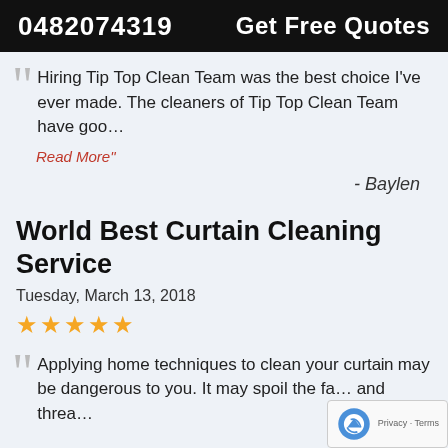0482074319   Get Free Quotes
Hiring Tip Top Clean Team was the best choice I've ever made. The cleaners of Tip Top Clean Team have goo…
Read More"
- Baylen
World Best Curtain Cleaning Service
Tuesday, March 13, 2018
★★★★★
Applying home techniques to clean your curtain may be dangerous to you. It may spoil the fa… and threa…